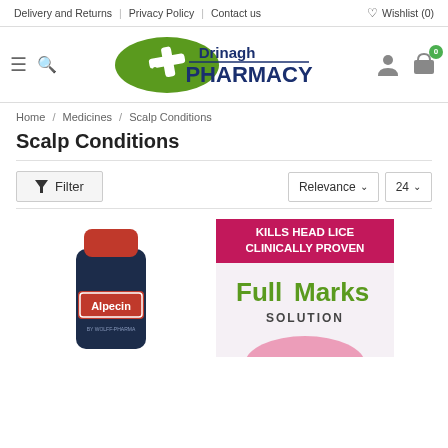Delivery and Returns | Privacy Policy | Contact us | ♡ Wishlist (0)
[Figure (logo): Drinagh Pharmacy logo with green oval and white cross/pill icon, text 'Drinagh PHARMACY' in dark blue]
Home / Medicines / Scalp Conditions
Scalp Conditions
Filter  Relevance ∨  24 ∨
[Figure (photo): Alpecin shampoo bottle - dark blue bottle with red cap and red Alpecin label]
[Figure (photo): Full Marks Solution product box - pink/white with green text 'Full Marks SOLUTION' and pink/magenta banner reading 'KILLS HEAD LICE CLINICALLY PROVEN']